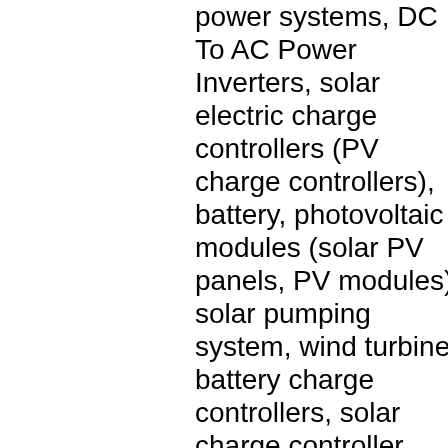power systems, DC To AC Power Inverters, solar electric charge controllers (PV charge controllers), battery, photovoltaic modules (solar PV panels, PV modules), solar pumping system, wind turbine, battery charge controllers, solar charge controller LD2420C, LD2430S, LD4830S, CM3024Z, CM3048, CM5024Z